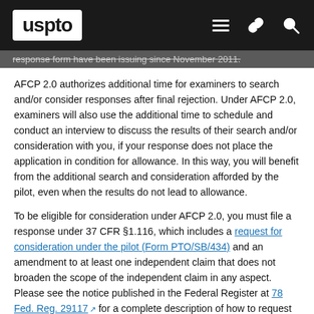uspto
response form have been issuing since November 2011.
AFCP 2.0 authorizes additional time for examiners to search and/or consider responses after final rejection. Under AFCP 2.0, examiners will also use the additional time to schedule and conduct an interview to discuss the results of their search and/or consideration with you, if your response does not place the application in condition for allowance. In this way, you will benefit from the additional search and consideration afforded by the pilot, even when the results do not lead to allowance.
To be eligible for consideration under AFCP 2.0, you must file a response under 37 CFR §1.116, which includes a request for consideration under the pilot (Form PTO/SB/434) and an amendment to at least one independent claim that does not broaden the scope of the independent claim in any aspect. Please see the notice published in the Federal Register at 78 Fed. Reg. 29117 for a complete description of how to request consideration under AFCP 2.0. As was the case with the AFCP, examiners will continue to use their professional judgment to